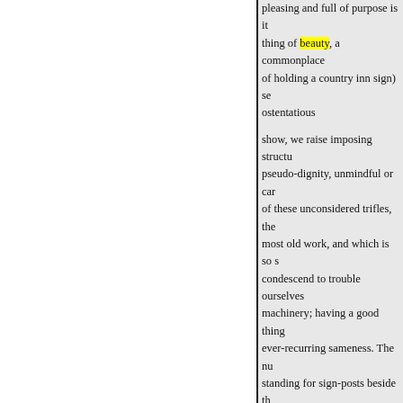pleasing and full of purpose is it thing of beauty, a commonplace of holding a country inn sign) se ostentatious
show, we raise imposing structu pseudo-dignity, unmindful or ca of these unconsidered trifles, the most old work, and which is so s condescend to trouble ourselves machinery; having a good thing ever-recurring sameness. The nu standing for sign-posts beside th simple thing can be made effecti
So pleased were we with the p camera and exposed a plate upon and boys to collect around us, ar in order that they might be in the photograph which in all probabil
The camera we found of great quaint carvings, altar-tombs, orn
« Ankstesnis